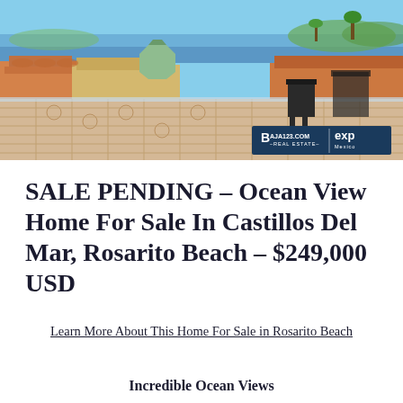[Figure (photo): Rooftop terrace view with ocean in background, terracotta tile rooftops, wicker chairs, Baja123.com Real Estate / eXp Mexico logo badge in bottom right]
SALE PENDING – Ocean View Home For Sale In Castillos Del Mar, Rosarito Beach – $249,000 USD
Learn More About This Home For Sale in Rosarito Beach
Incredible Ocean Views